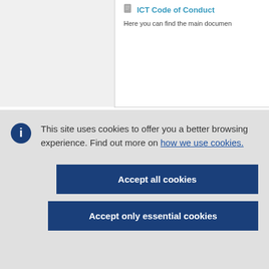ICT Code of Conduct
Here you can find the main document
This site uses cookies to offer you a better browsing experience. Find out more on how we use cookies.
Accept all cookies
Accept only essential cookies